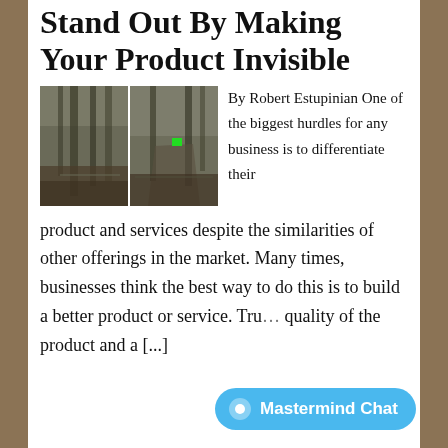Stand Out By Making Your Product Invisible
[Figure (photo): Two side-by-side photos of a forest road with tall trees; the right photo shows a small green object near the road.]
By Robert Estupinian One of the biggest hurdles for any business is to differentiate their product and services despite the similarities of other offerings in the market. Many times, businesses think the best way to do this is to build a better product or service. Tru... quality of the product and a [...]